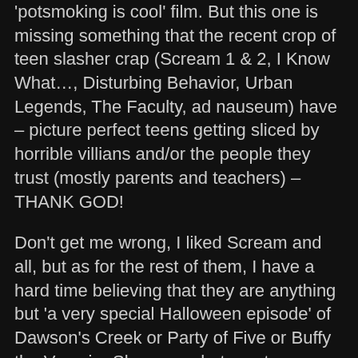'potsmoking is cool' film. But this one is missing something that the recent crop of teen slasher crap (Scream 1 & 2, I Know What..., Disturbing Behavior, Urban Legends, The Faculty, ad nauseum) have – picture perfect teens getting sliced by horrible villians and/or the people they trust (mostly parents and teachers) – THANK GOD!
Don't get me wrong, I liked Scream and all, but as for the rest of them, I have a hard time believing that they are anything but 'a very special Halloween episode' of Dawson's Creek or Party of Five or Buffy the Vampire Slayer or whatever teen melodrama. At least that is what the cast list is like. It seems like the first thing even mentioned in the commercials these days are 'Jennifer Love Hewitt, star of TV's Party of Five,' or 'Brandy, star